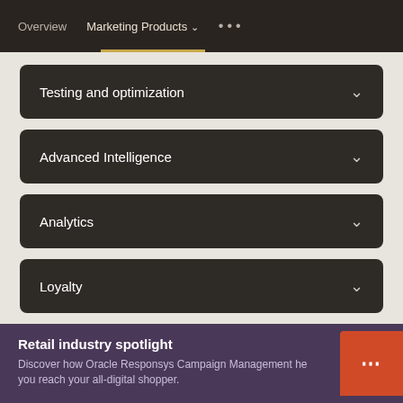Overview   Marketing Products ∨   • • •
Testing and optimization
Advanced Intelligence
Analytics
Loyalty
Retail industry spotlight
Discover how Oracle Responsys Campaign Management helps you reach your all-digital shopper.